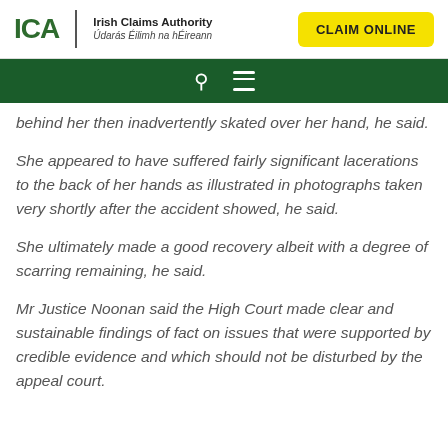ICA | Irish Claims Authority | Údarás Éilimh na hÉireann | CLAIM ONLINE
behind her then inadvertently skated over her hand, he said.
She appeared to have suffered fairly significant lacerations to the back of her hands as illustrated in photographs taken very shortly after the accident showed, he said.
She ultimately made a good recovery albeit with a degree of scarring remaining, he said.
Mr Justice Noonan said the High Court made clear and sustainable findings of fact on issues that were supported by credible evidence and which should not be disturbed by the appeal court.